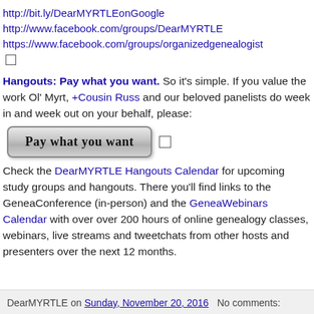http://bit.ly/DearMYRTLEonGoogle
http://www.facebook.com/groups/DearMYRTLE
https://www.facebook.com/groups/organizedgenealogist
Hangouts: Pay what you want. So it's simple. If you value the work Ol' Myrt, +Cousin Russ and our beloved panelists do week in and week out on your behalf, please:
[Figure (other): Button labeled 'Pay what you want' in decorative gothic font with gray gradient background]
Check the DearMYRTLE Hangouts Calendar for upcoming study groups and hangouts. There you'll find links to the GeneaConference (in-person) and the GeneaWebinars Calendar with over over 200 hours of online genealogy classes, webinars, live streams and tweetchats from other hosts and presenters over the next 12 months.
DearMYRTLE on Sunday, November 20, 2016   No comments: